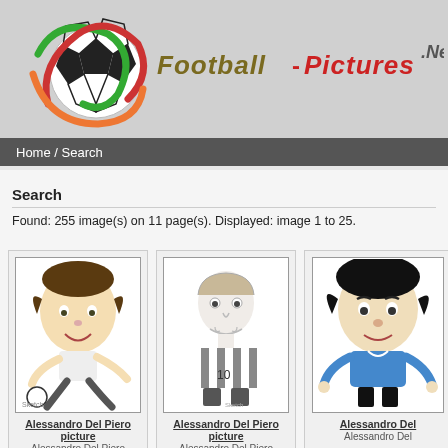[Figure (logo): Football-Pictures.Net website logo with soccer ball and swirling colored ribbons]
Football-Pictures.Net
Home / Search
Search
Found: 255 image(s) on 11 page(s). Displayed: image 1 to 25.
[Figure (illustration): Caricature illustration of Alessandro Del Piero kicking a football]
Alessandro Del Piero picture
Alessandro Del Piero
[Figure (illustration): Pencil sketch illustration of Alessandro Del Piero in striped kit]
Alessandro Del Piero picture
Alessandro Del Piero
[Figure (illustration): Caricature illustration of Alessandro Del Piero in blue kit, partially visible]
Alessandro Del Piero picture
Alessandro Del